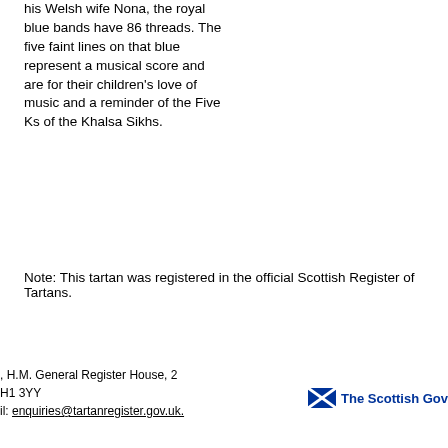his Welsh wife Nona, the royal blue bands have 86 threads. The five faint lines on that blue represent a musical score and are for their children's love of music and a reminder of the Five Ks of the Khalsa Sikhs.
Note: This tartan was registered in the official Scottish Register of Tartans.
, H.M. General Register House, 2
H1 3YY
il: enquiries@tartanregister.gov.uk.